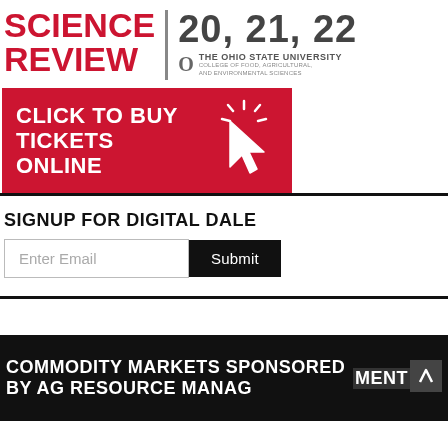SCIENCE REVIEW 20, 21, 22 The Ohio State University College of Food, Agricultural, and Environmental Sciences
[Figure (illustration): Red banner with white text 'CLICK TO BUY TICKETS ONLINE' and a white cursor/click icon on the right]
SIGNUP FOR DIGITAL DALE
Enter Email [input field] Submit [button]
COMMODITY MARKETS SPONSORED BY AG RESOURCE MANAGEMENT